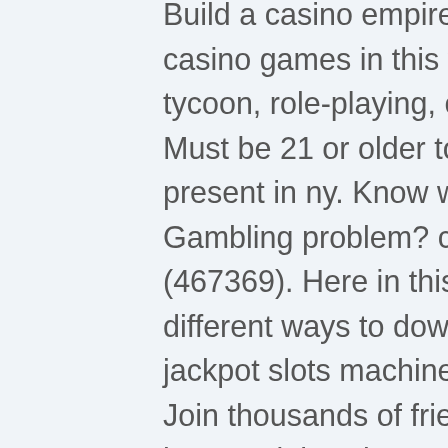Build a casino empire while playing all your favorite casino games in this vegas style world that merges tycoon, role-playing, city-building and free online. Must be 21 or older to gamble. Must be physically present in ny. Know when to stop before you start®. Gambling problem? call 877-8-hopeny or text hopeny (467369). Here in this article, we will list down different ways to download offline casino games : free jackpot slots machines on pc in a step by step guide. Join thousands of friends all over the world for the best social casino online! feel the excitement of the vegas style slot games for free! Crypto casino games &amp; casino slot games. Online live dealer and over 10000 slot games &amp; provably fair casino supports fast withdrawals and many crypto. In a similar way of playing online casino games on your pc, there are also two ways in which you can play at casino sites on your mobile. To install casino games - infinity slots on